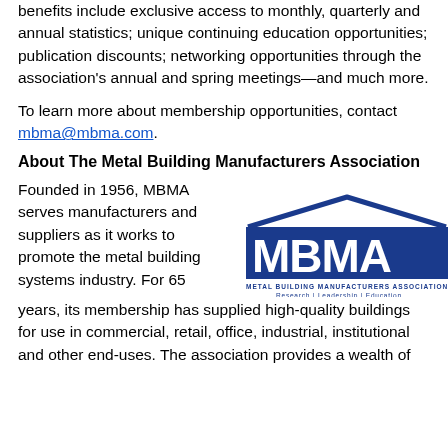benefits include exclusive access to monthly, quarterly and annual statistics; unique continuing education opportunities; publication discounts; networking opportunities through the association's annual and spring meetings—and much more.
To learn more about membership opportunities, contact mbma@mbma.com.
About The Metal Building Manufacturers Association
Founded in 1956, MBMA serves manufacturers and suppliers as it works to promote the metal building systems industry. For 65 years, its membership has supplied high-quality buildings for use in commercial, retail, office, industrial, institutional and other end-uses. The association provides a wealth of
[Figure (logo): MBMA Metal Building Manufacturers Association logo with building silhouette and tagline Research | Leadership | Education]